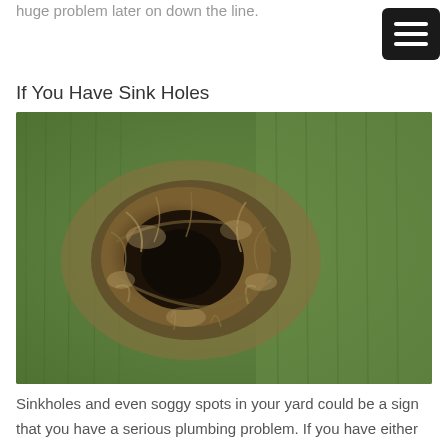huge problem later on down the line.
If You Have Sink Holes
[Figure (photo): Close-up photograph of a sinkhole in a green grass lawn. The sinkhole is an irregular brown dirt hole surrounded by dead and matted grass, set against healthy green turf.]
Sinkholes and even soggy spots in your yard could be a sign that you have a serious plumbing problem. If you have either of these, it is time for you to call